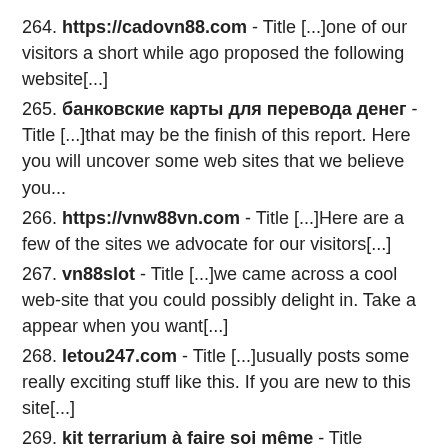264. https://cadovn88.com - Title [...]one of our visitors a short while ago proposed the following website[...]
265. банковские карты для перевода денег - Title [...]that may be the finish of this report. Here you will uncover some web sites that we believe you...
266. https://vnw88vn.com - Title [...]Here are a few of the sites we advocate for our visitors[...]
267. vn88slot - Title [...]we came across a cool web-site that you could possibly delight in. Take a appear when you want[...]
268. letou247.com - Title [...]usually posts some really exciting stuff like this. If you are new to this site[...]
269. kit terrarium à faire soi même - Title [...]please check out the internet sites we stick to, like this a single, because it represents our picks through...
270.          - Title [...]that will be the end of this write-up. Right here you'll locate some web pages that we think